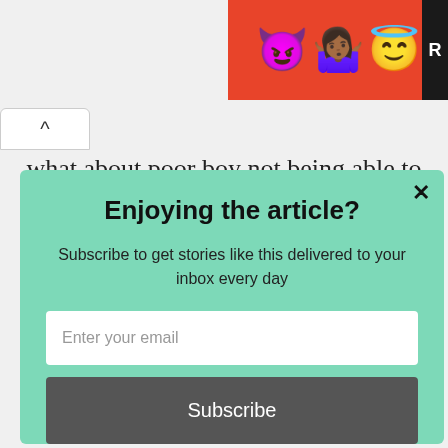[Figure (screenshot): Ad banner with emoji characters (devil, person, angel face) on red background with partial R letter visible at right edge]
what about poor boy not being able to run
×
Enjoying the article?
Subscribe to get stories like this delivered to your inbox every day
Enter your email
Subscribe
powered by MailMunch